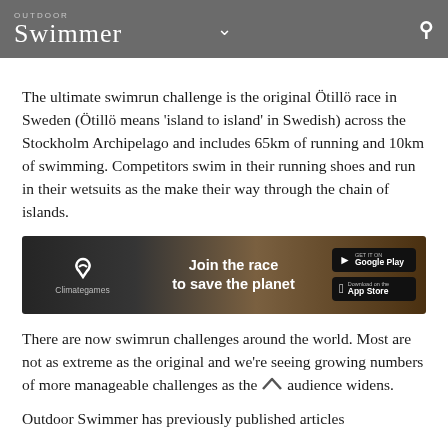OUTDOOR Swimmer
The ultimate swimrun challenge is the original Ötillö race in Sweden (Ötillö means 'island to island' in Swedish) across the Stockholm Archipelago and includes 65km of running and 10km of swimming. Competitors swim in their running shoes and run in their wetsuits as the make their way through the chain of islands.
[Figure (photo): Advertisement banner for Climategames app showing 'Join the race to save the planet' with Google Play and App Store download buttons]
There are now swimrun challenges around the world. Most are not as extreme as the original and we're seeing growing numbers of more manageable challenges as the audience widens.
Outdoor Swimmer has previously published articles